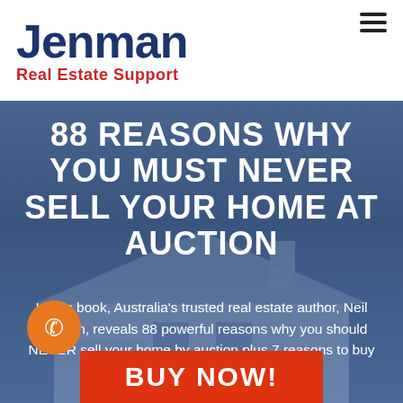[Figure (logo): Jenman Real Estate Support logo — blue 'Jenman' wordmark with red 'Real Estate Support' subtitle]
88 REASONS WHY YOU MUST NEVER SELL YOUR HOME AT AUCTION
In this book, Australia's trusted real estate author, Neil Jenman, reveals 88 powerful reasons why you should NEVER sell your home by auction plus 7 reasons to buy at auction.
BUY NOW!